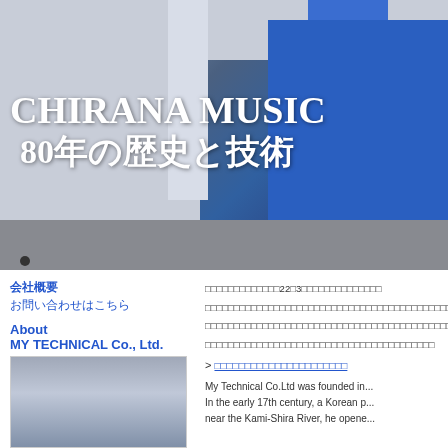[Figure (photo): Banner photo of a blue and white industrial/commercial building exterior with overlay text reading CHIRANA MUSIC and Japanese text 80年の歴史と技術]
CHIRANA MUSIC
80年の歴史と技術
会社概要
お問い合わせはこちら
About
MY TECHNICAL Co., Ltd.
[Figure (photo): Gray gradient image placeholder in sidebar]
Japanese text block with 22及3 reference
> Japanese link text
My Technical Co.Ltd was founded in...
In the early 17th century, a Korean p...
near the Kami-Shira River, he opene...